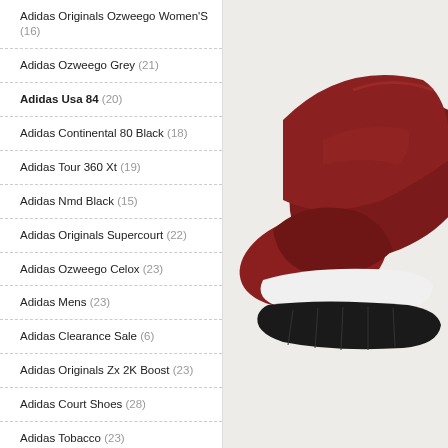Adidas Originals Ozweego Women'S (16)
Adidas Ozweego Grey (21)
Adidas Usa 84 (20)
Adidas Continental 80 Black (18)
Adidas Tour 360 Xt (19)
Adidas Nmd Black (15)
Adidas Originals Supercourt (22)
Adidas Ozweego Celox (23)
Adidas Mens (23)
Adidas Clearance Sale (6)
Adidas Originals Zx 2K Boost (23)
Adidas Court Shoes (28)
Adidas Tobacco (23)
Adidas Originals Swift Run (24)
Adidas Zx 10000 (25)
[Figure (photo): Close-up of a dark red/maroon Adidas sneaker with black sole and white midsole, photographed from the side/bottom angle on a light beige background.]